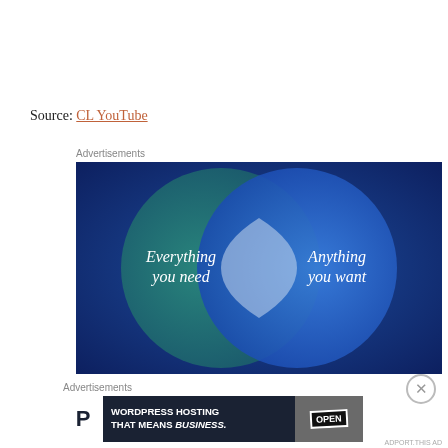Source: CL YouTube
Advertisements
[Figure (infographic): Venn diagram with two overlapping circles on a dark blue background. Left circle is teal/green with text 'Everything you need'. Right circle is bright blue with text 'Anything you want'. The overlapping region is a light blue lens shape.]
Advertisements
[Figure (other): WordPress hosting advertisement banner: 'WORDPRESS HOSTING THAT MEANS BUSINESS.' with a P logo and an OPEN sign photo.]